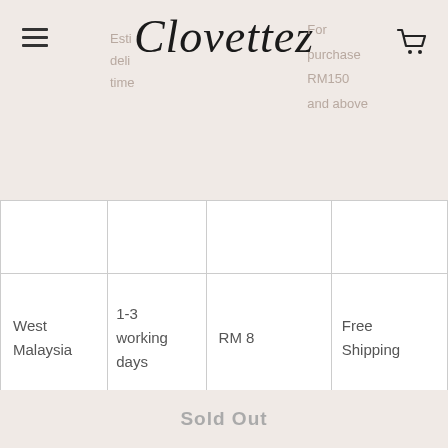Clovettez
|  | Estimated delivery time | Fee | For purchase RM150 and above |
| --- | --- | --- | --- |
| West Malaysia | 1-3 working days | RM 8 | Free Shipping |
| East Malaysia | 3-5 working days | RM 13.50 (Pos Laju) RM 15.00 (J&T) | Free Shipping |
Sold Out